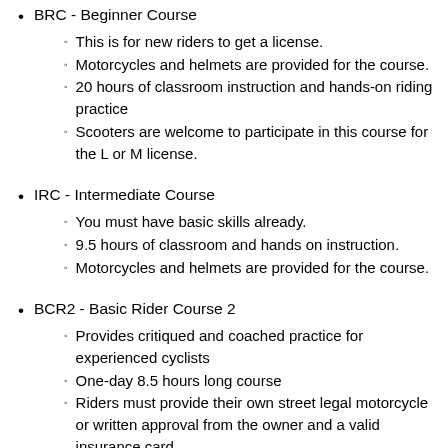BRC - Beginner Course
This is for new riders to get a license.
Motorcycles and helmets are provided for the course.
20 hours of classroom instruction and hands-on riding practice
Scooters are welcome to participate in this course for the L or M license.
IRC - Intermediate Course
You must have basic skills already.
9.5 hours of classroom and hands on instruction.
Motorcycles and helmets are provided for the course.
BCR2 - Basic Rider Course 2
Provides critiqued and coached practice for experienced cyclists
One-day 8.5 hours long course
Riders must provide their own street legal motorcycle or written approval from the owner and a valid insurance card.